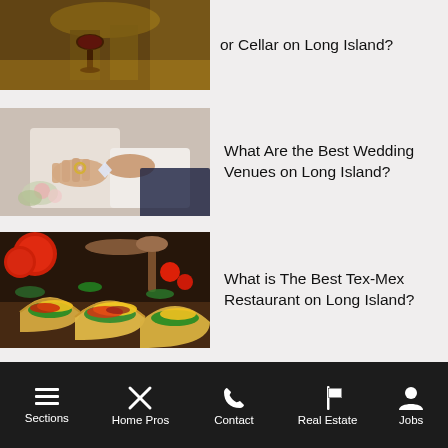[Figure (photo): Partial top image of a person at what appears to be a bar or cellar setting with wine glasses and gold tones]
or Cellar on Long Island?
[Figure (photo): Two people's hands exchanging rings at a wedding ceremony with flowers]
What Are the Best Wedding Venues on Long Island?
[Figure (photo): Tex-Mex food: tacos/wraps with colorful toppings including yellow cheese, greens, tomatoes on a wooden surface]
What is The Best Tex-Mex Restaurant on Long Island?
Related Articles
Sections   Home Pros   Contact   Real Estate   Jobs